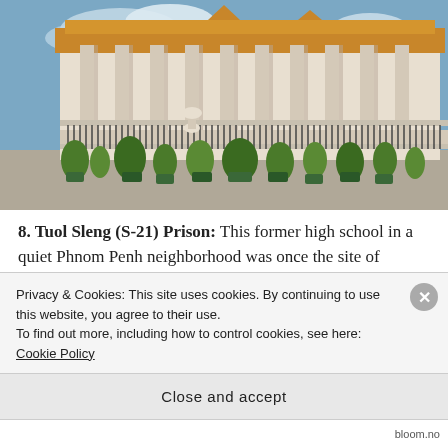[Figure (photo): Exterior of a Cambodian temple or government building with white columns, decorative iron fence, and tropical plants in the foreground under a partly cloudy sky.]
8. Tuol Sleng (S-21) Prison: This former high school in a quiet Phnom Penh neighborhood was once the site of unspeakable horrors. An estimated 20,000 victims of the Khmer Rouge were interred, interrogated, tortured, and killed at Security Prison 21 (S-21) or transferred to the
Privacy & Cookies: This site uses cookies. By continuing to use this website, you agree to their use.
To find out more, including how to control cookies, see here: Cookie Policy
Close and accept